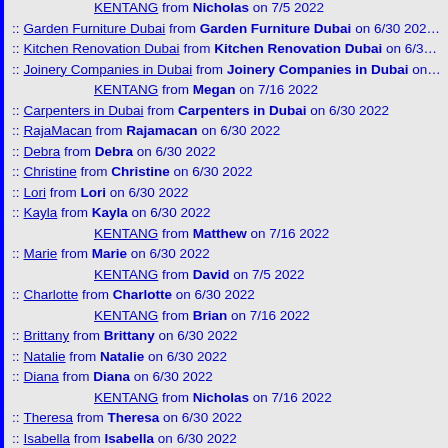KENTANG from Nicholas on 7/5 2022
Garden Furniture Dubai from Garden Furniture Dubai on 6/30 2022
Kitchen Renovation Dubai from Kitchen Renovation Dubai on 6/3...
Joinery Companies in Dubai from Joinery Companies in Dubai on...
KENTANG from Megan on 7/16 2022
Carpenters in Dubai from Carpenters in Dubai on 6/30 2022
RajaMacan from Rajamacan on 6/30 2022
Debra from Debra on 6/30 2022
Christine from Christine on 6/30 2022
Lori from Lori on 6/30 2022
Kayla from Kayla on 6/30 2022
KENTANG from Matthew on 7/16 2022
Marie from Marie on 6/30 2022
KENTANG from David on 7/5 2022
Charlotte from Charlotte on 6/30 2022
KENTANG from Brian on 7/16 2022
Brittany from Brittany on 6/30 2022
Natalie from Natalie on 6/30 2022
Diana from Diana on 6/30 2022
KENTANG from Nicholas on 7/16 2022
Theresa from Theresa on 6/30 2022
Isabella from Isabella on 6/30 2022
Beverly from Beverly on 6/30 2022
Danielle from Danielle on 6/30 2022
Marilyn from Marilyn on 6/30 2022
Doris from Doris on 6/30 2022
Amber from Amber on 6/30 2022
Denise from Denise on 6/30 2022
Grace from Grace on 6/30 2022
KENTANG from Jessica on 7/16 2022